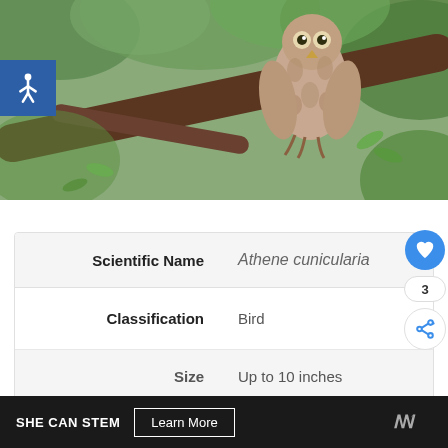[Figure (photo): An owl perched on a tree branch with green foliage in the background. Accessibility icon badge overlaid in upper left.]
| Scientific Name | Athene cunicularia |
| Classification | Bird |
| Size | Up to 10 inches |
SHE CAN STEM  Learn More